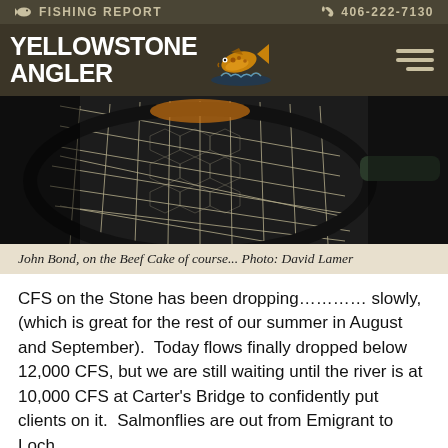FISHING REPORT   406-222-7130
YELLOWSTONE ANGLER
[Figure (photo): Close-up photo of a fishing net held over water, with a fish visible through the mesh of the net. Dark background.]
John Bond, on the Beef Cake of course... Photo: David Lamer
CFS on the Stone has been dropping………… slowly, (which is great for the rest of our summer in August and September).  Today flows finally dropped below 12,000 CFS, but we are still waiting until the river is at 10,000 CFS at Carter's Bridge to confidently put clients on it.  Salmonflies are out from Emigrant to Loch leven, but this visibility is still below, and that the…